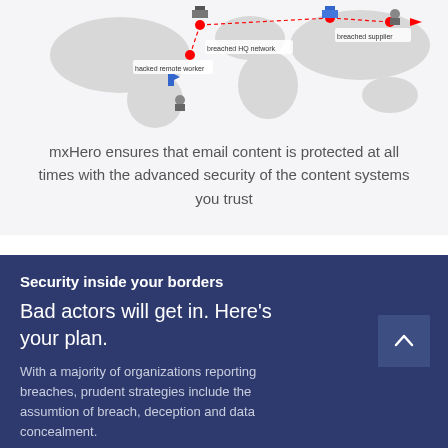[Figure (infographic): World map infographic showing cyber breach scenarios with red dots and dashed lines connecting 'breached HQ network', 'hacked remote worker', and 'breached supplier' labels, with hacker icons and building icons scattered across the map.]
mxHero ensures that email content is protected at all times with the advanced security of the content systems you trust
Security inside your borders
Bad actors will get in. Here's your plan.
With a majority of organizations reporting breaches, prudent strategies include the assumtion of breach, deception and data concealment.